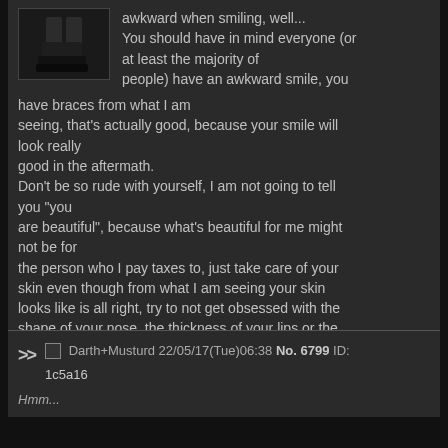awkward when smiling, well... You should have in mind everyone (or at least the majority of people) have an awkward smile, you have braces from what I am seeing, that's actually good, because your smile will look really good in the aftermath. Don't be so rude with yourself, I am not going to tell you "you are beautiful", because what's beautiful for me might not be for the person who I pay taxes to, just take care of your skin even though from what I am seeing your skin looks like is all right, try to not get obsessed with the shape of your nose, the thickness of your lips or the shape of your eyes, is not about being your self but about not being someone you are not.
Darth+Musturd 22/05/17(Tue)06:38 No. 6799 ID: 1c5a16
Hmm...